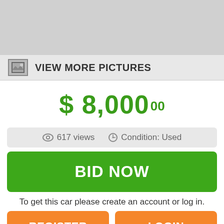[Figure (photo): Gray image placeholder at top of page]
VIEW MORE PICTURES
$ 8,000 00
617 views   Condition: Used
BID NOW
To get this car please create an account or log in.
REGISTER
LOGIN
State: Texas
City: Dallas
Address: 2516 Walnut Ridge
Zip code: 75220